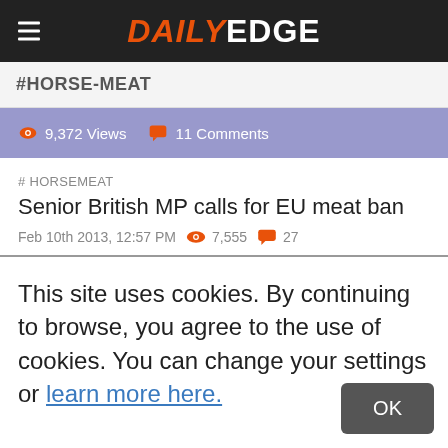DAILY EDGE
#HORSE-MEAT
9,372 Views   11 Comments
Senior British MP calls for EU meat ban
# HORSEMEAT
Feb 10th 2013, 12:57 PM   7,555   27
This site uses cookies. By continuing to browse, you agree to the use of cookies. You can change your settings or learn more here.